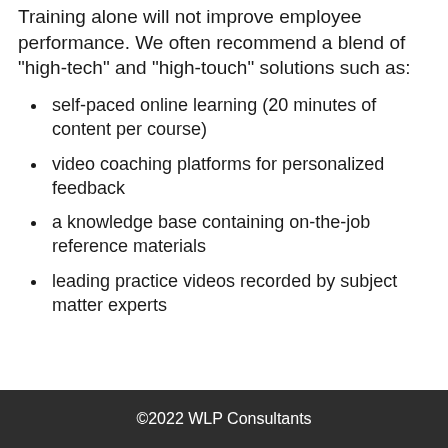Training alone will not improve employee performance. We often recommend a blend of "high-tech" and "high-touch" solutions such as:
self-paced online learning (20 minutes of content per course)
video coaching platforms for personalized feedback
a knowledge base containing on-the-job reference materials
leading practice videos recorded by subject matter experts
©2022 WLP Consultants